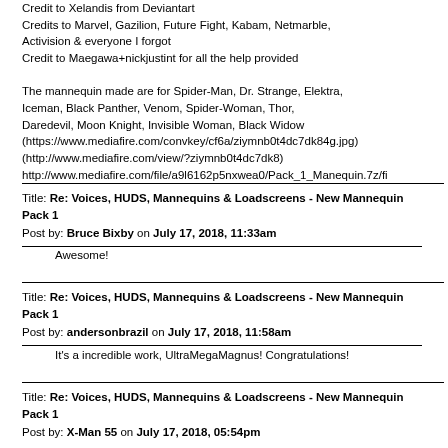Credit to Xelandis from Deviantart
Credits to Marvel, Gazilion, Future Fight, Kabam, Netmarble, Activision & everyone I forgot
Credit to Maegawa+nickjustint for all the help provided

The mannequin made are for Spider-Man, Dr. Strange, Elektra, Iceman, Black Panther, Venom, Spider-Woman, Thor, Daredevil, Moon Knight, Invisible Woman, Black Widow (https://www.mediafire.com/convkey/cf6a/ziymnb0t4dc7dk84g.jpg) (http://www.mediafire.com/view/?ziymnb0t4dc7dk8) http://www.mediafire.com/file/a9l6162p5nxwea0/Pack_1_Manequin.7z/fi
Title: Re: Voices, HUDS, Mannequins & Loadscreens - New Mannequin Pack 1
Post by: Bruce Bixby on July 17, 2018, 11:33am
Awesome!
Title: Re: Voices, HUDS, Mannequins & Loadscreens - New Mannequin Pack 1
Post by: andersonbrazil on July 17, 2018, 11:58am
It's a incredible work, UltraMegaMagnus! Congratulations!
Title: Re: Voices, HUDS, Mannequins & Loadscreens - New Mannequin Pack 1
Post by: X-Man 55 on July 17, 2018, 05:54pm